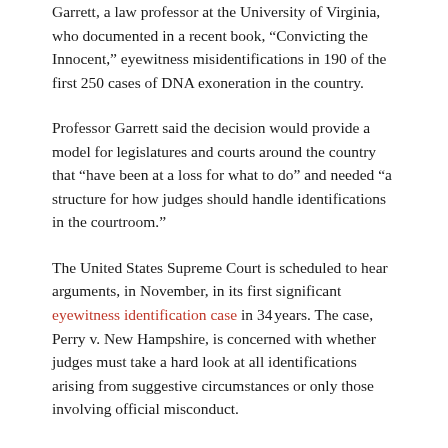Garrett, a law professor at the University of Virginia, who documented in a recent book, “Convicting the Innocent,” eyewitness misidentifications in 190 of the first 250 cases of DNA exoneration in the country.
Professor Garrett said the decision would provide a model for legislatures and courts around the country that “have been at a loss for what to do” and needed “a structure for how judges should handle identifications in the courtroom.”
The United States Supreme Court is scheduled to hear arguments, in November, in its first significant eyewitness identification case in 34 years. The case, Perry v. New Hampshire, is concerned with whether judges must take a hard look at all identifications arising from suggestive circumstances or only those involving official misconduct.